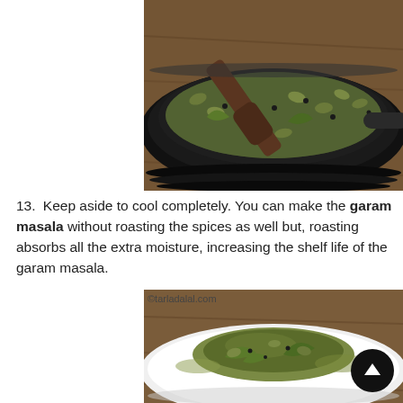[Figure (photo): A black non-stick frying pan with mixed whole spices including cardamom pods, bay leaves, black peppercorns, and cinnamon sticks, with a wooden spatula resting in the pan on a wooden surface.]
13. Keep aside to cool completely. You can make the garam masala without roasting the spices as well but, roasting absorbs all the extra moisture, increasing the shelf life of the garam masala.
[Figure (photo): A white plate with a pile of mixed ground garam masala spices including visible bay leaves, cardamom pods, and other whole spices on a wooden background. Watermark: ©tarladalal.com]